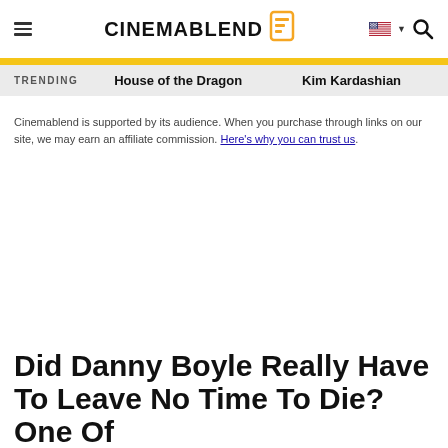CINEMABLEND
TRENDING   House of the Dragon   Kim Kardashian
Cinemablend is supported by its audience. When you purchase through links on our site, we may earn an affiliate commission. Here's why you can trust us.
Did Danny Boyle Really Have To Leave No Time To Die? One Of